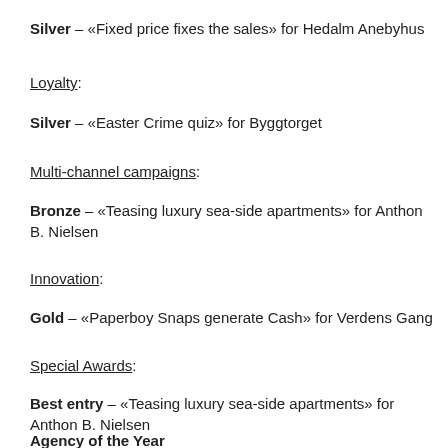Silver – «Fixed price fixes the sales» for Hedalm Anebyhus
Loyalty:
Silver – «Easter Crime quiz» for Byggtorget
Multi-channel campaigns:
Bronze – «Teasing luxury sea-side apartments» for Anthon B. Nielsen
Innovation:
Gold – «Paperboy Snaps generate Cash» for Verdens Gang
Special Awards:
Best entry – «Teasing luxury sea-side apartments» for Anthon B. Nielsen
Agency of the Year